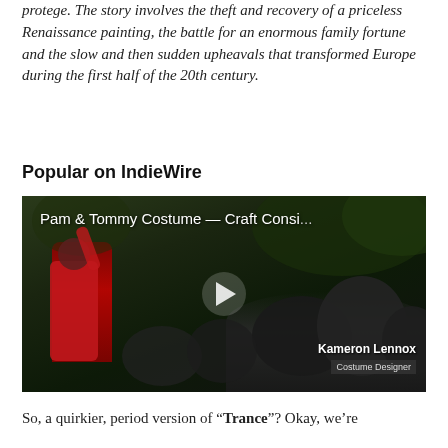protege. The story involves the theft and recovery of a priceless Renaissance painting, the battle for an enormous family fortune and the slow and then sudden upheavals that transformed Europe during the first half of the 20th century.
Popular on IndieWire
[Figure (screenshot): Video thumbnail showing a person in a red coat and hat with arm raised in a crowd scene, with video title 'Pam & Tommy Costume — Craft Consi...' and attribution to Kameron Lennox, Costume Designer]
So, a quirkier, period version of “Trance”? Okay, we’re